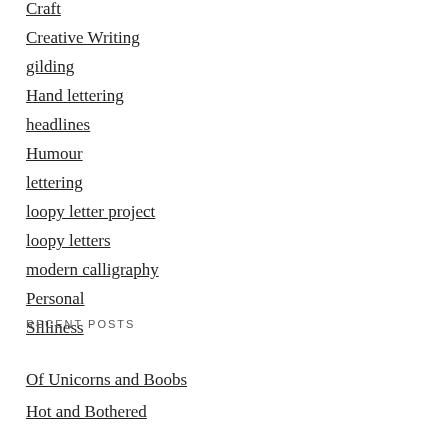Craft
Creative Writing
gilding
Hand lettering
headlines
Humour
lettering
loopy letter project
loopy letters
modern calligraphy
Personal
Silliness
RECENT POSTS
Of Unicorns and Boobs
Hot and Bothered